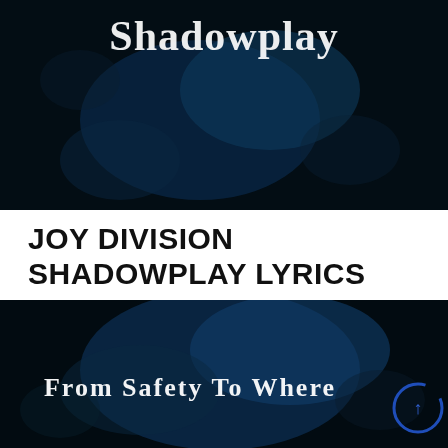[Figure (screenshot): Dark background image with bokeh blue light effects and white stylized text reading 'Shadowplay' in the upper portion]
JOY DIVISION SHADOWPLAY LYRICS
[Figure (screenshot): Dark background image with bokeh blue light effects and white serif text reading 'From Safety To Where' with a blue circular arrow icon in the bottom right]